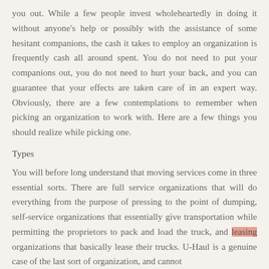you out. While a few people invest wholeheartedly in doing it without anyone's help or possibly with the assistance of some hesitant companions, the cash it takes to employ an organization is frequently cash all around spent. You do not need to put your companions out, you do not need to hurt your back, and you can guarantee that your effects are taken care of in an expert way. Obviously, there are a few contemplations to remember when picking an organization to work with. Here are a few things you should realize while picking one.
Types
You will before long understand that moving services come in three essential sorts. There are full service organizations that will do everything from the purpose of pressing to the point of dumping, self-service organizations that essentially give transportation while permitting the proprietors to pack and load the truck, and leasing organizations that basically lease their trucks. U-Haul is a genuine case of the last sort of organization, and cannot